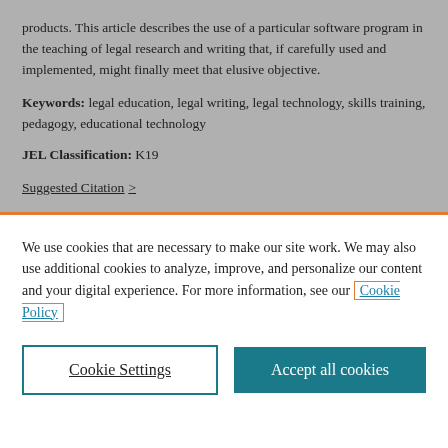products. This article describes the use of a particular software program in the teaching of legal research and writing that, if carefully used and implemented, might finally meet that elusive objective.
Keywords: legal education, legal writing, legal technology, skills training, pedagogy, educational technology
JEL Classification: K19
Suggested Citation >
We use cookies that are necessary to make our site work. We may also use additional cookies to analyze, improve, and personalize our content and your digital experience. For more information, see our Cookie Policy
Cookie Settings
Accept all cookies